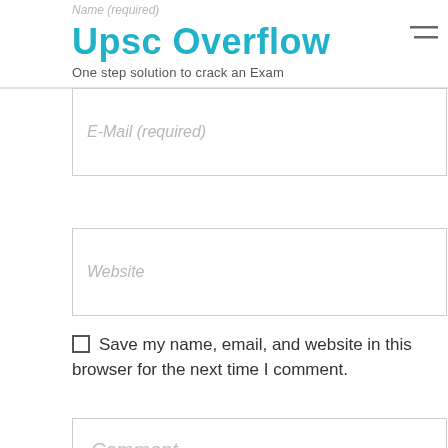Upsc Overflow — One step solution to crack an Exam
Name (required)
E-Mail (required)
Website
Save my name, email, and website in this browser for the next time I comment.
Comment